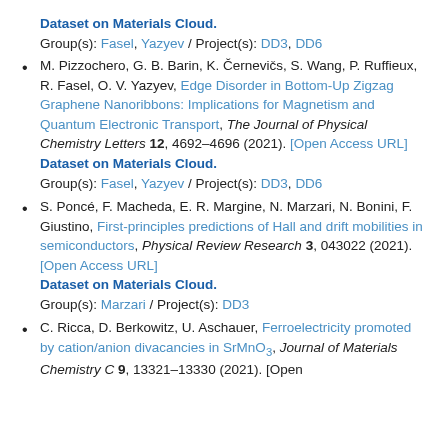Dataset on Materials Cloud.
Group(s): Fasel, Yazyev / Project(s): DD3, DD6
M. Pizzochero, G. B. Barin, K. Černevičs, S. Wang, P. Ruffieux, R. Fasel, O. V. Yazyev, Edge Disorder in Bottom-Up Zigzag Graphene Nanoribbons: Implications for Magnetism and Quantum Electronic Transport, The Journal of Physical Chemistry Letters 12, 4692–4696 (2021). [Open Access URL]
Dataset on Materials Cloud.
Group(s): Fasel, Yazyev / Project(s): DD3, DD6
S. Poncé, F. Macheda, E. R. Margine, N. Marzari, N. Bonini, F. Giustino, First-principles predictions of Hall and drift mobilities in semiconductors, Physical Review Research 3, 043022 (2021). [Open Access URL]
Dataset on Materials Cloud.
Group(s): Marzari / Project(s): DD3
C. Ricca, D. Berkowitz, U. Aschauer, Ferroelectricity promoted by cation/anion divacancies in SrMnO3, Journal of Materials Chemistry C 9, 13321–13330 (2021). [Open